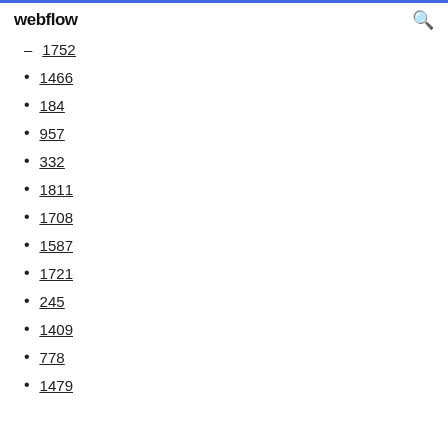webflow
1752
1466
184
957
332
1811
1708
1587
1721
245
1409
778
1479